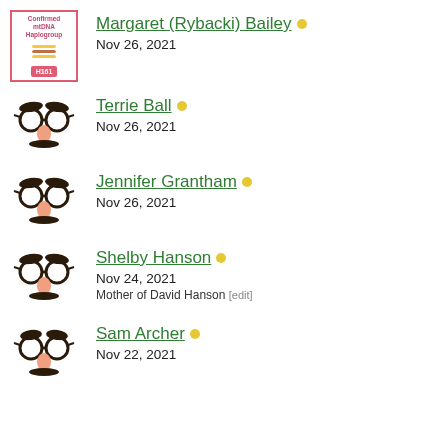Margaret (Rybacki) Bailey • Nov 26, 2021
Terrie Ball • Nov 26, 2021
Jennifer Grantham • Nov 26, 2021
Shelby Hanson • Nov 24, 2021 | Mother of David Hanson [edit]
Sam Archer • Nov 22, 2021